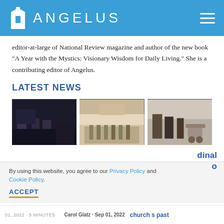ANGELUS
editor-at-large of National Review magazine and author of the new book "A Year with the Mystics: Visionary Wisdom for Daily Living." She is a contributing editor of Angelus.
LATEST NEWS
[Figure (photo): Three news thumbnail photos side by side showing people in various settings]
By using this website, you agree to our Privacy Policy and Cookie Policy.
ACCEPT
dinal o
Carol Glatz · Sep 01, 2022   church s past